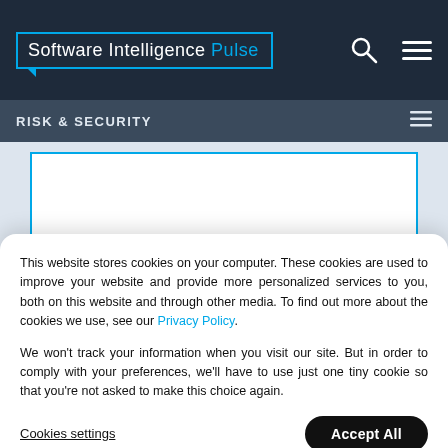Software Intelligence Pulse
RISK & SECURITY
[Figure (screenshot): Partially visible white card with blue border on gray background]
VIDEO INTERVIEW
[Figure (photo): Video interview thumbnail with dark navy background, teal geometric graphic area, and a circular avatar of a person on the right]
This website stores cookies on your computer. These cookies are used to improve your website and provide more personalized services to you, both on this website and through other media. To find out more about the cookies we use, see our Privacy Policy.
We won't track your information when you visit our site. But in order to comply with your preferences, we'll have to use just one tiny cookie so that you're not asked to make this choice again.
Cookies settings
Accept All